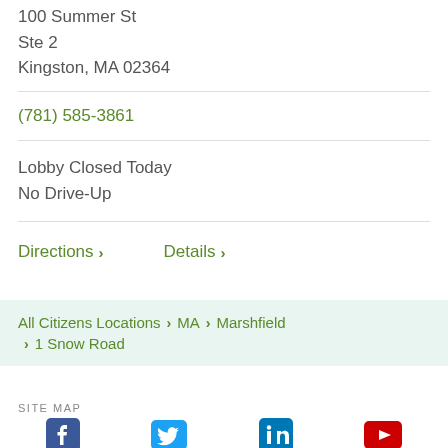100 Summer St
Ste 2
Kingston, MA 02364
(781) 585-3861
Lobby Closed Today
No Drive-Up
Directions > Details >
All Citizens Locations > MA > Marshfield > 1 Snow Road
SITE MAP
[Figure (logo): Social media icons: Facebook, Twitter, LinkedIn, YouTube]